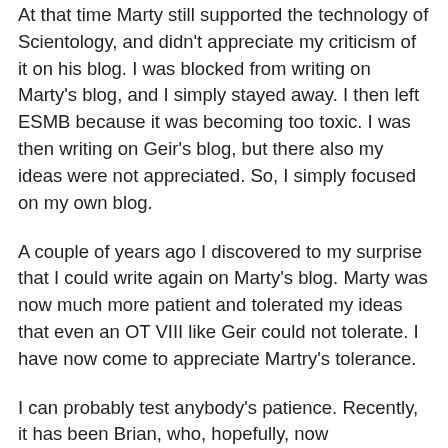At that time Marty still supported the technology of Scientology, and didn't appreciate my criticism of it on his blog. I was blocked from writing on Marty's blog, and I simply stayed away. I then left ESMB because it was becoming too toxic. I was then writing on Geir's blog, but there also my ideas were not appreciated. So, I simply focused on my own blog.
A couple of years ago I discovered to my surprise that I could write again on Marty's blog. Marty was now much more patient and tolerated my ideas that even an OT VIII like Geir could not tolerate. I have now come to appreciate Martry's tolerance.
I can probably test anybody's patience. Recently, it has been Brian, who, hopefully, now